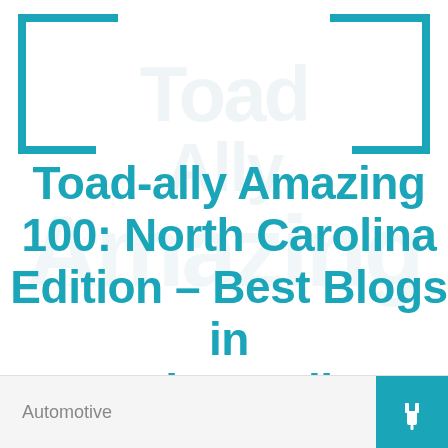[Figure (illustration): Decorative teal bracket/corner frame at top of page]
Toad-ally Amazing 100: North Carolina Edition – Best Blogs in North Carolina
Automotive